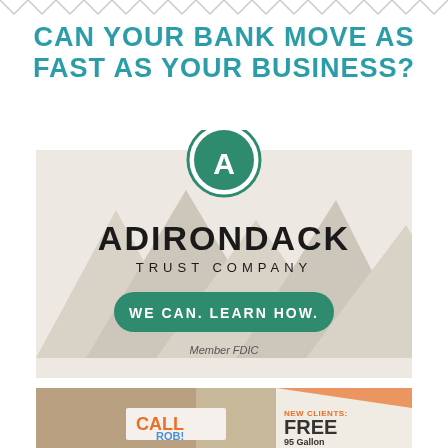CAN YOUR BANK MOVE AS FAST AS YOUR BUSINESS?
[Figure (illustration): Adirondack Trust Company advertisement with triangle mountain background graphic, circular green logo with letter A, company name, and green button reading 'WE CAN. LEARN HOW.' with 'Member FDIC' text]
[Figure (photo): Advertisement for Rob showing a man in orange holding a business card with text 'CALL ROB!' and right panel showing 'NEW CLIENTS: FREE 95 Gallon...']